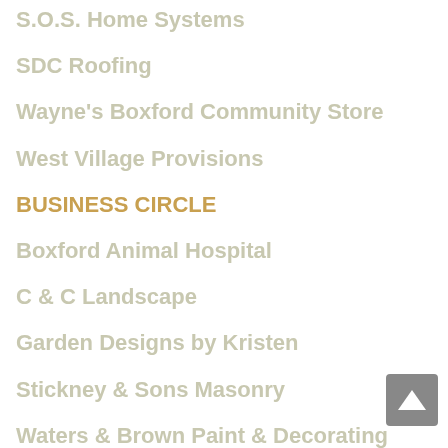S.O.S. Home Systems
SDC Roofing
Wayne's Boxford Community Store
West Village Provisions
BUSINESS CIRCLE
Boxford Animal Hospital
C & C Landscape
Garden Designs by Kristen
Stickney & Sons Masonry
Waters & Brown Paint & Decorating